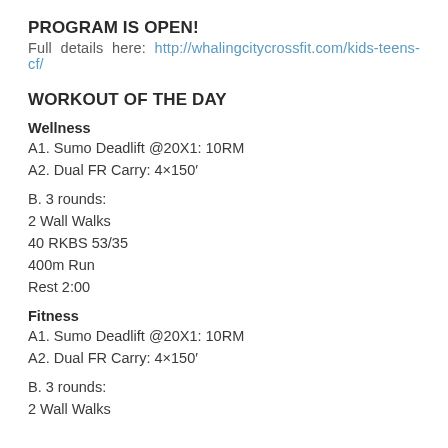PROGRAM IS OPEN!
Full details here: http://whalingcitycrossfit.com/kids-teens-cf/
WORKOUT OF THE DAY
Wellness
A1. Sumo Deadlift @20X1: 10RM
A2. Dual FR Carry: 4×150′
B. 3 rounds:
2 Wall Walks
40 RKBS 53/35
400m Run
Rest 2:00
Fitness
A1. Sumo Deadlift @20X1: 10RM
A2. Dual FR Carry: 4×150′
B. 3 rounds:
2 Wall Walks